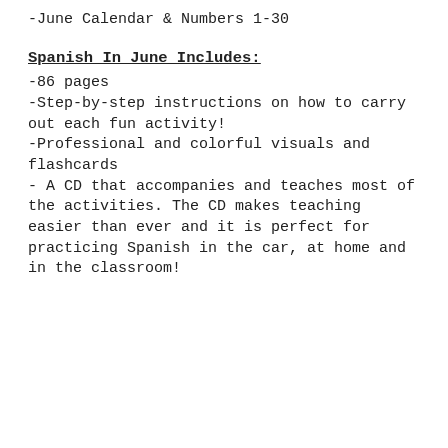-June Calendar & Numbers 1-30
Spanish In June Includes:
-86 pages
-Step-by-step instructions on how to carry out each fun activity!
-Professional and colorful visuals and flashcards
- A CD that accompanies and teaches most of the activities. The CD makes teaching easier than ever and it is perfect for practicing Spanish in the car, at home and in the classroom!